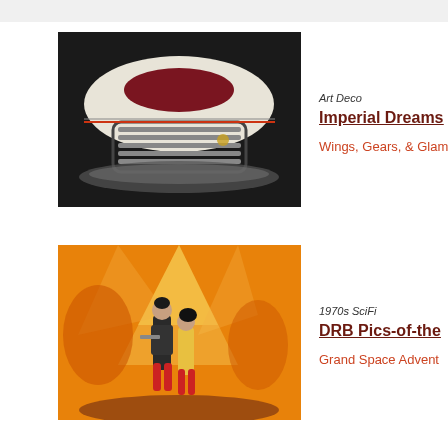[Figure (photo): Art Deco styled futuristic car or bumper car object with chrome grille and streamlined body, white and dark colors, on dark background]
Art Deco
Imperial Dreams
Wings, Gears, & Glam
[Figure (photo): 1970s SciFi illustration showing two space adventurer figures in colorful suits against an orange and yellow cosmic background with light beams]
1970s SciFi
DRB Pics-of-the
Grand Space Advent